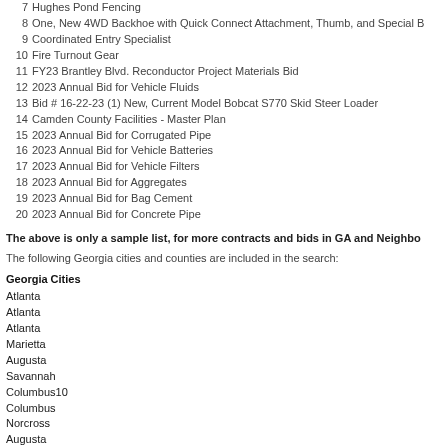7  Hughes Pond Fencing
8  One, New 4WD Backhoe with Quick Connect Attachment, Thumb, and Special B
9  Coordinated Entry Specialist
10  Fire Turnout Gear
11  FY23 Brantley Blvd. Reconductor Project Materials Bid
12  2023 Annual Bid for Vehicle Fluids
13  Bid # 16-22-23 (1) New, Current Model Bobcat S770 Skid Steer Loader
14  Camden County Facilities - Master Plan
15  2023 Annual Bid for Corrugated Pipe
16  2023 Annual Bid for Vehicle Batteries
17  2023 Annual Bid for Vehicle Filters
18  2023 Annual Bid for Aggregates
19  2023 Annual Bid for Bag Cement
20  2023 Annual Bid for Concrete Pipe
The above is only a sample list, for more contracts and bids in GA and Neighbo
The following Georgia cities and counties are included in the search:
Georgia Cities
Atlanta
Atlanta
Atlanta
Marietta
Augusta
Savannah
Columbus10
Columbus
Norcross
Augusta
Macon
Savannah